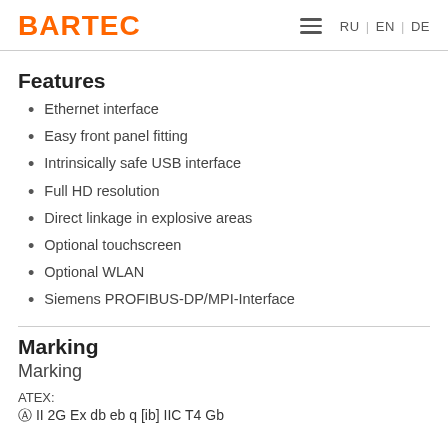BARTEC | RU | EN | DE
Features
Ethernet interface
Easy front panel fitting
Intrinsically safe USB interface
Full HD resolution
Direct linkage in explosive areas
Optional touchscreen
Optional WLAN
Siemens PROFIBUS-DP/MPI-Interface
Marking
Marking
ATEX:
⊗ II 2G Ex db eb q [ib] IIC T4 Gb